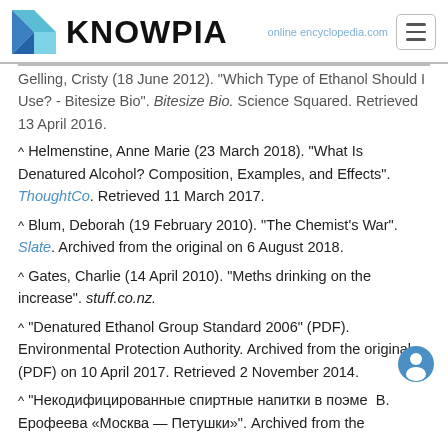KNOWPIA
Gelling, Cristy (18 June 2012). "Which Type of Ethanol Should I Use? - Bitesize Bio". Bitesize Bio. Science Squared. Retrieved 13 April 2016.
^ Helmenstine, Anne Marie (23 March 2018). "What Is Denatured Alcohol? Composition, Examples, and Effects". ThoughtCo. Retrieved 11 March 2017.
^ Blum, Deborah (19 February 2010). "The Chemist's War". Slate. Archived from the original on 6 August 2018.
^ Gates, Charlie (14 April 2010). "Meths drinking on the increase". stuff.co.nz.
^ "Denatured Ethanol Group Standard 2006" (PDF). Environmental Protection Authority. Archived from the original (PDF) on 10 April 2017. Retrieved 2 November 2014.
^ "Некодифицированные спиртные напитки в поэме В. Ерофеева «Москва — Петушки»". Archived from the